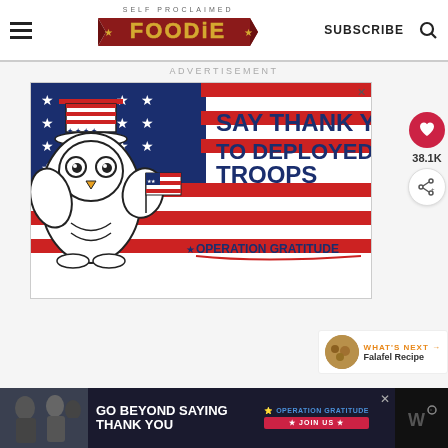SELF PROCLAIMED FOODIE — SUBSCRIBE
ADVERTISEMENT
[Figure (illustration): Advertisement for Operation Gratitude: 'SAY THANK YOU TO DEPLOYED TROOPS' with a cartoon owl wearing Uncle Sam hat and holding an American flag, against a patriotic red/white/blue background.]
38.1K
[Figure (illustration): WHAT'S NEXT: Falafel Recipe thumbnail with circular image of fried falafel balls.]
[Figure (illustration): Bottom banner advertisement: GO BEYOND SAYING THANK YOU — Operation Gratitude JOIN US, with photo of people and American flag imagery.]